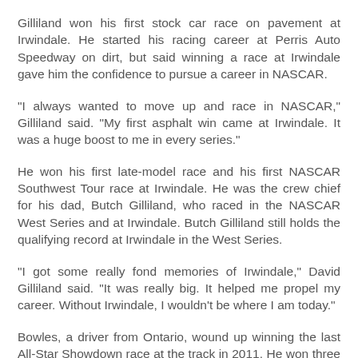Gilliland won his first stock car race on pavement at Irwindale. He started his racing career at Perris Auto Speedway on dirt, but said winning a race at Irwindale gave him the confidence to pursue a career in NASCAR.
"I always wanted to move up and race in NASCAR," Gilliland said. "My first asphalt win came at Irwindale. It was a huge boost to me in every series."
He won his first late-model race and his first NASCAR Southwest Tour race at Irwindale. He was the crew chief for his dad, Butch Gilliland, who raced in the NASCAR West Series and at Irwindale. Butch Gilliland still holds the qualifying record at Irwindale in the West Series.
"I got some really fond memories of Irwindale," David Gilliland said. "It was really big. It helped me propel my career. Without Irwindale, I wouldn't be where I am today."
Bowles, a driver from Ontario, wound up winning the last All-Star Showdown race at the track in 2011. He won three NASCAR West Series races in a row, all from the pole, at